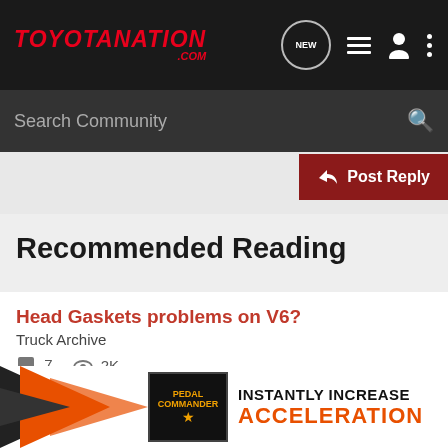TOYOTANATION.COM
Search Community
Post Reply
Recommended Reading
Head Gaskets problems on V6?
Truck Archive
7  2K
CarnutPete · updated Oct 21, 2004
head gasket recall 22?
89-95 T...
[Figure (infographic): Pedal Commander advertisement banner showing orange arrow graphic, Pedal Commander product/logo, and text 'INSTANTLY INCREASE ACCELERATION']